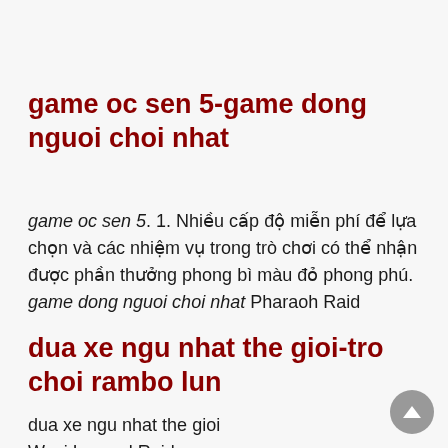game oc sen 5-game dong nguoi choi nhat
game oc sen 5. 1. Nhiều cấp độ miễn phí để lựa chọn và các nhiệm vụ trong trò chơi có thể nhận được phần thưởng phong bì màu đỏ phong phú. game dong nguoi choi nhat Pharaoh Raid
dua xe ngu nhat the gioi-tro choi rambo lun
dua xe ngu nhat the gioi Wuyi Legend Raiders